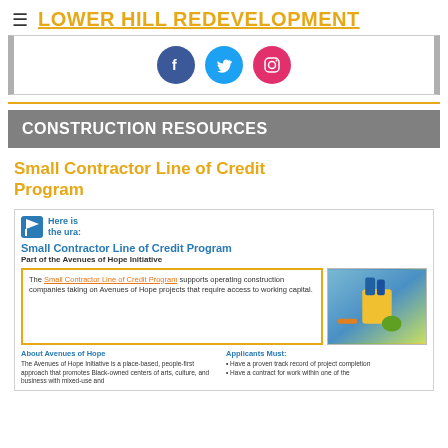LOWER HILL REDEVELOPMENT
[Figure (infographic): Social media icons: Facebook (blue circle), Twitter (light blue circle), Instagram (pink/red circle)]
CONSTRUCTION RESOURCES
Small Contractor Line of Credit Program
[Figure (screenshot): Embedded URA document showing 'Small Contractor Line of Credit Program, Part of the Avenues of Hope Initiative' with text box and construction photo, plus About Avenues of Hope and Applicants Must sections]